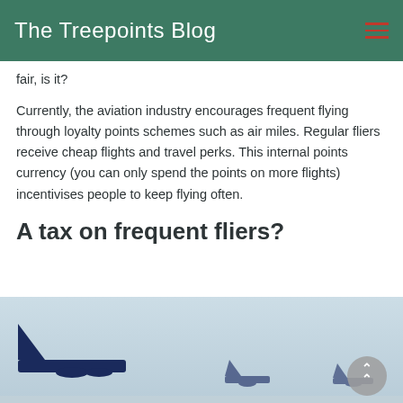The Treepoints Blog
fair, is it?
Currently, the aviation industry encourages frequent flying through loyalty points schemes such as air miles. Regular fliers receive cheap flights and travel perks. This internal points currency (you can only spend the points on more flights) incentivises people to keep flying often.
A tax on frequent fliers?
[Figure (photo): Photo of an airplane tail/aircraft on a runway or airport tarmac, shot from below against a light sky.]